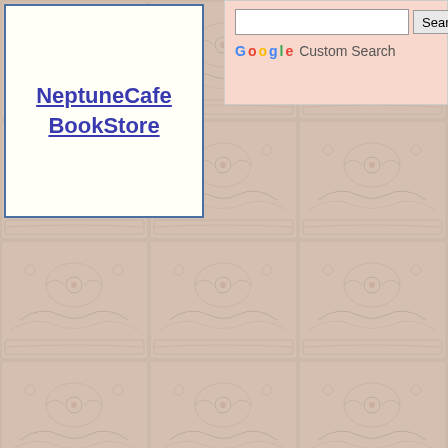NeptuneCafe BookStore
[Figure (screenshot): Search box with Google Custom Search branding on a pink/peach background]
[Figure (illustration): Repeating ornamental tile pattern in peach/salmon and grey-blue tones covering the page background]